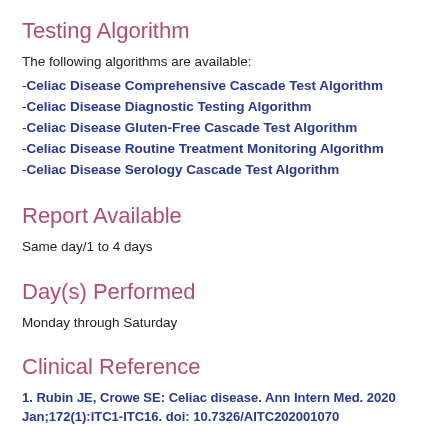Testing Algorithm
The following algorithms are available:
-Celiac Disease Comprehensive Cascade Test Algorithm
-Celiac Disease Diagnostic Testing Algorithm
-Celiac Disease Gluten-Free Cascade Test Algorithm
-Celiac Disease Routine Treatment Monitoring Algorithm
-Celiac Disease Serology Cascade Test Algorithm
Report Available
Same day/1 to 4 days
Day(s) Performed
Monday through Saturday
Clinical Reference
1. Rubin JE, Crowe SE: Celiac disease. Ann Intern Med. 2020 Jan;172(1):ITC1-ITC16. doi: 10.7326/AITC202001070